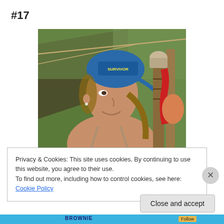#17
[Figure (photo): A woman wearing a blue Survivor bandana on her head, smiling in profile, wearing a bikini top, with tribal camp equipment visible in the background including wrapped poles and red cloth.]
Privacy & Cookies: This site uses cookies. By continuing to use this website, you agree to their use.
To find out more, including how to control cookies, see here: Cookie Policy
Close and accept